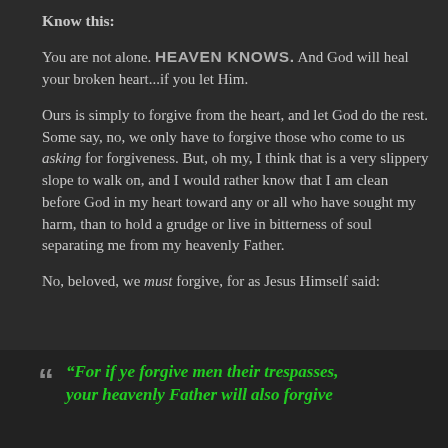Know this:
You are not alone. HEAVEN KNOWS. And God will heal your broken heart...if you let Him.
Ours is simply to forgive from the heart, and let God do the rest. Some say, no, we only have to forgive those who come to us asking for forgiveness. But, oh my, I think that is a very slippery slope to walk on, and I would rather know that I am clean before God in my heart toward any or all who have sought my harm, than to hold a grudge or live in bitterness of soul separating me from my heavenly Father.
No, beloved, we must forgive, for as Jesus Himself said:
“For if ye forgive men their trespasses, your heavenly Father will also forgive